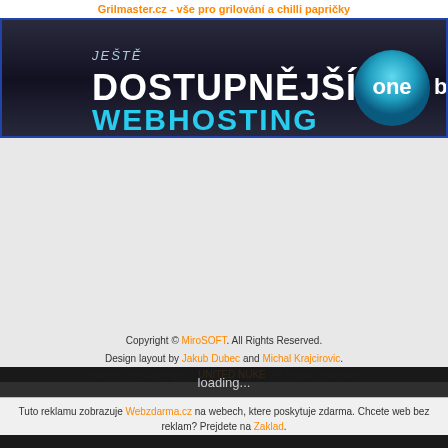Grilmaster.cz - vše pro grilování a chilli papričky
[Figure (screenshot): Webhosting advertisement banner with dark background: 'JEŠTĚ DOSTUPNĚJŠÍ WEBHOSTING' with 'one' logo button]
Copyright © MiroSOFT. All Rights Reserved.
Design layout by Jakub Dubec and Michal Krajcirovic.
Powered by Copyright © UNITED NUKE. All Rights Reserved.
loading...
Tuto reklamu zobrazuje Webzdarma.cz na webech, ktere poskytuje zdarma. Chcete web bez reklam? Prejdete na Zaklad.